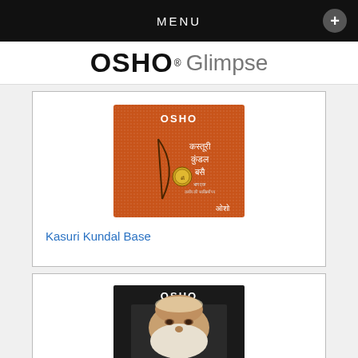MENU
OSHO Glimpse
[Figure (photo): Book cover: orange textured cover with 'OSHO' at top, Hindi text in the middle, and a medallion/bow design, author mark at bottom]
Kasuri Kundal Base
[Figure (photo): Book cover: dark/black cover with 'OSHO' at top and a photo of Osho's face with beard and white hair]